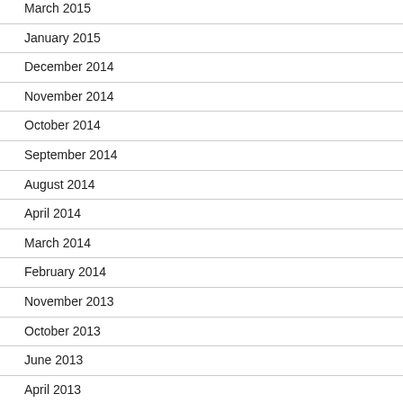March 2015
January 2015
December 2014
November 2014
October 2014
September 2014
August 2014
April 2014
March 2014
February 2014
November 2013
October 2013
June 2013
April 2013